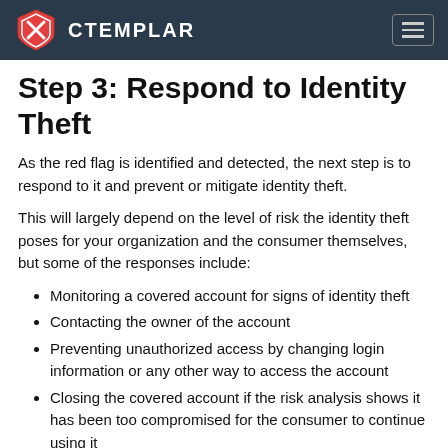CTEMPLAR
Step 3: Respond to Identity Theft
As the red flag is identified and detected, the next step is to respond to it and prevent or mitigate identity theft.
This will largely depend on the level of risk the identity theft poses for your organization and the consumer themselves, but some of the responses include:
Monitoring a covered account for signs of identity theft
Contacting the owner of the account
Preventing unauthorized access by changing login information or any other way to access the account
Closing the covered account if the risk analysis shows it has been too compromised for the consumer to continue using it